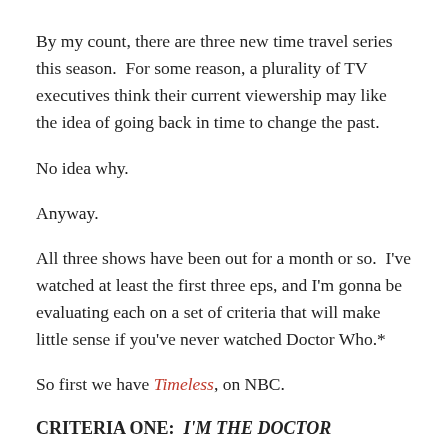By my count, there are three new time travel series this season.  For some reason, a plurality of TV executives think their current viewership may like the idea of going back in time to change the past.
No idea why.
Anyway.
All three shows have been out for a month or so.  I've watched at least the first three eps, and I'm gonna be evaluating each on a set of criteria that will make little sense if you've never watched Doctor Who.*
So first we have Timeless, on NBC.
CRITERIA ONE:  I'M THE DOCTOR